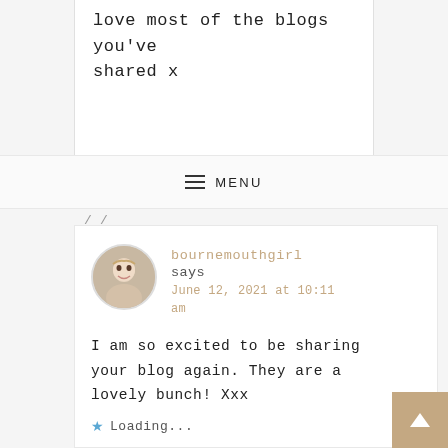love most of the blogs you've shared x
≡ MENU
/ /
bournemouthgirl says
June 12, 2021 at 10:11 am
I am so excited to be sharing your blog again. They are a lovely bunch! Xxx
★ Loading...